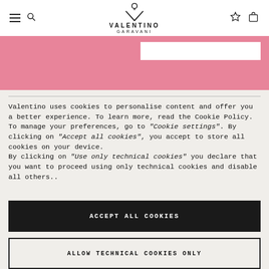[Figure (screenshot): Valentino Garavani website header with hamburger menu, search icon, Valentino Garavani logo (V emblem), wishlist star icon, and shopping bag icon on white background]
[Figure (screenshot): Pink banner section with a white input/search bar in the upper right]
Valentino uses cookies to personalise content and offer you a better experience. To learn more, read the Cookie Policy. To manage your preferences, go to "Cookie settings". By clicking on "Accept all cookies", you accept to store all cookies on your device.
By clicking on "Use only technical cookies" you declare that you want to proceed using only technical cookies and disable all others..
ACCEPT ALL COOKIES
ALLOW TECHNICAL COOKIES ONLY
Cookie settings